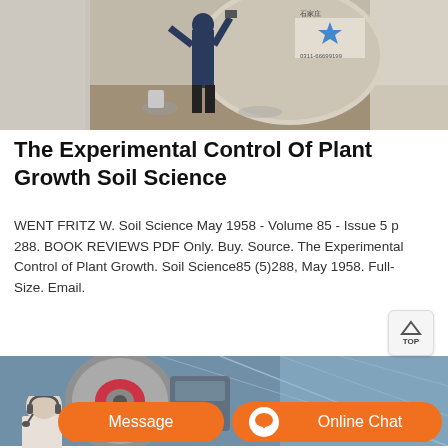[Figure (photo): Construction scene with a worker standing next to large machinery or equipment, outdoor industrial setting, Chinese text and star logo visible in background.]
The Experimental Control Of Plant Growth Soil Science
WENT FRITZ W. Soil Science May 1958 - Volume 85 - Issue 5 p 288. BOOK REVIEWS PDF Only. Buy. Source. The Experimental Control of Plant Growth. Soil Science85 (5)288, May 1958. Full-Size. Email.
[Figure (photo): Industrial machinery and greenhouse structure with large circular grinding wheel, metallic framework visible.]
[Figure (photo): Chat support widget: person with headset on left; orange Message button; orange Online Chat button with circular icon.]